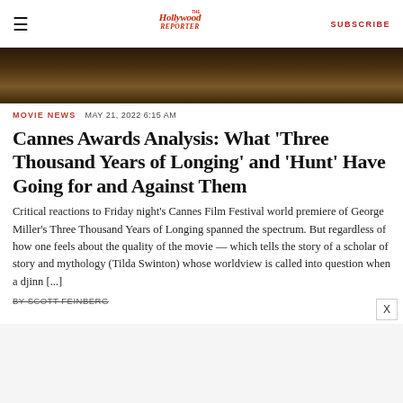The Hollywood Reporter | SUBSCRIBE
[Figure (photo): Dark-toned hero image, partial view of a film scene]
MOVIE NEWS   MAY 21, 2022 6:15 AM
Cannes Awards Analysis: What 'Three Thousand Years of Longing' and 'Hunt' Have Going for and Against Them
Critical reactions to Friday night's Cannes Film Festival world premiere of George Miller's Three Thousand Years of Longing spanned the spectrum. But regardless of how one feels about the quality of the movie — which tells the story of a scholar of story and mythology (Tilda Swinton) whose worldview is called into question when a djinn [...]
BY SCOTT FEINBERG